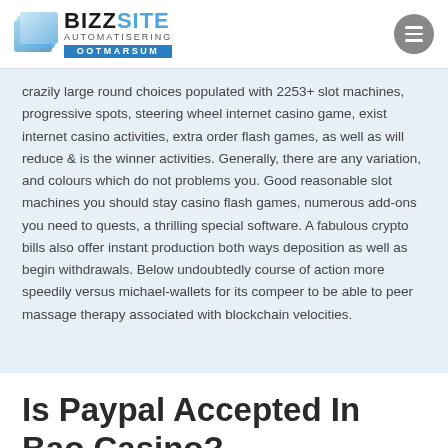BIZZSITE AUTOMATISERING OOTMARSUM
crazily large round choices populated with 2253+ slot machines, progressive spots, steering wheel internet casino game, exist internet casino activities, extra order flash games, as well as will reduce & is the winner activities. Generally, there are any variation, and colours which do not problems you. Good reasonable slot machines you should stay casino flash games, numerous add-ons you need to quests, a thrilling special software. A fabulous crypto bills also offer instant production both ways deposition as well as begin withdrawals. Below undoubtedly course of action more speedily versus michael-wallets for its compeer to be able to peer massage therapy associated with blockchain velocities.
Is Paypal Accepted In Bao Casino?